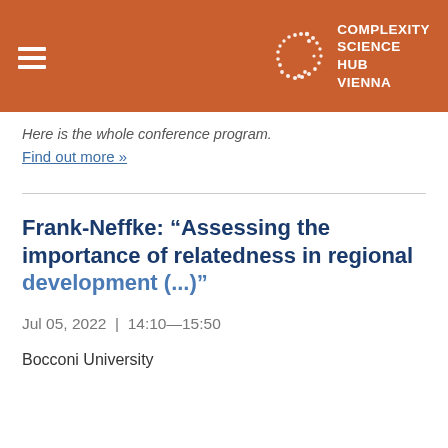Complexity Science Hub Vienna
Here is the whole conference program.
Find out more »
Frank-Neffke: “Assessing the importance of relatedness in regional development (...)”
Jul 05, 2022 | 14:10—15:50
Bocconi University